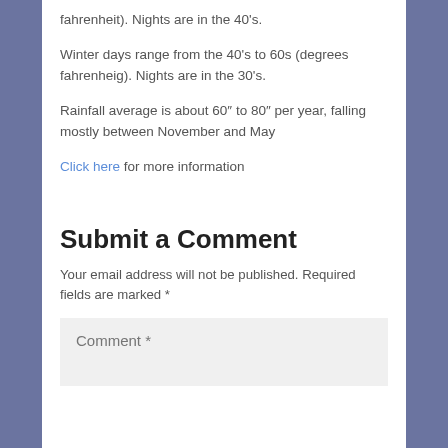fahrenheit). Nights are in the 40’s.
Winter days range from the 40’s to 60s (degrees fahrenheig). Nights are in the 30’s.
Rainfall average is about 60″ to 80″ per year, falling mostly between November and May
Click here for more information
Submit a Comment
Your email address will not be published. Required fields are marked *
Comment *